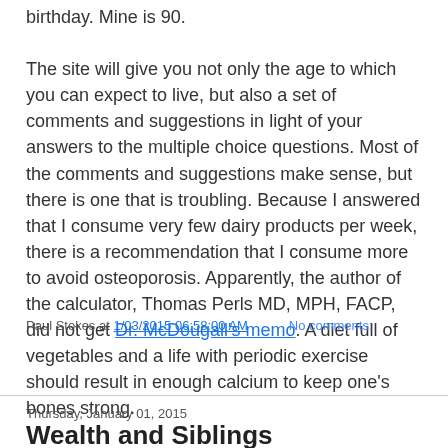birthday. Mine is 90.

The site will give you not only the age to which you can expect to live, but also a set of comments and suggestions in light of your answers to the multiple choice questions. Most of the comments and suggestions make sense, but there is one that is troubling. Because I answered that I consume very few dairy products per week, there is a recommendation that I consume more to avoid osteoporosis. Apparently, the author of the calculator, Thomas Perls MD, MPH, FACP, did not get Dr. McDougall's memo. A diet full of vegetables and a life with periodic exercise should result in enough calcium to keep one's bones strong.
Paul Stokes at 1/03/2015 06:58:00 AM   No comments:
Share
Thursday, January 01, 2015
Wealth and Siblings